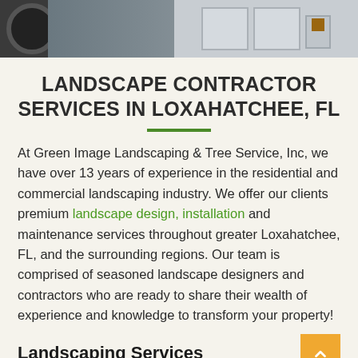[Figure (photo): Photo banner of a truck or vehicle, showing white panel sections and dark background]
LANDSCAPE CONTRACTOR SERVICES IN LOXAHATCHEE, FL
At Green Image Landscaping & Tree Service, Inc, we have over 13 years of experience in the residential and commercial landscaping industry. We offer our clients premium landscape design, installation and maintenance services throughout greater Loxahatchee, FL, and the surrounding regions. Our team is comprised of seasoned landscape designers and contractors who are ready to share their wealth of experience and knowledge to transform your property!
Landscaping Services
We can design and install your landscape setting from